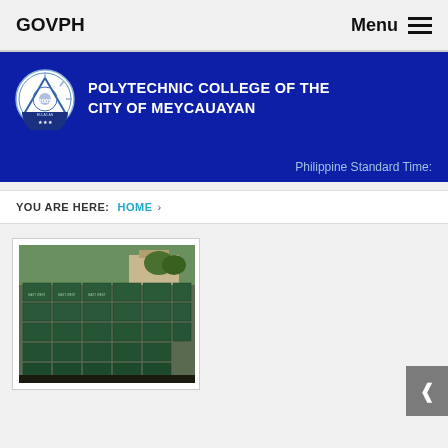GOVPH | Menu
[Figure (logo): Polytechnic College of the City of Meycauayan logo and banner with dark blue background]
Philippine Standard Time:
YOU ARE HERE: HOME »
[Figure (photo): Stacked boxes or packages arranged in rows on display, appears to be a product or goods distribution photo]